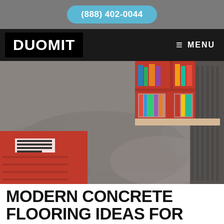(888) 402-0044
[Figure (logo): DUOMIT logo on black background with MENU navigation]
[Figure (photo): Modern interior room with grey concrete flooring, red shelving unit with books and red cabinet/drawer unit]
MODERN CONCRETE FLOORING IDEAS FOR YOUR HOME OFFICE